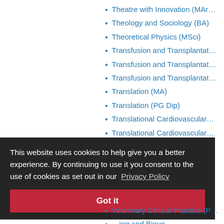Theatre with Innovation (MAr…
Theology and Sociology (BA)
Theoretical Physics (MSci)
Transfusion and Transplantat…
Transfusion and Transplantat…
Transfusion and Transplantat…
Translation (MA)
Translation (PG Dip)
Translational Cardiovascular…
Translational Cardiovascular…
This website uses cookies to help give you a better experience. By continuing to use it you consent to the use of cookies as set out in our Privacy Policy
Veterinary Clinical Practice (P…
…ing and Biove…
Veterinary Science (BVSc)
Veterinary Sciences (MSc)